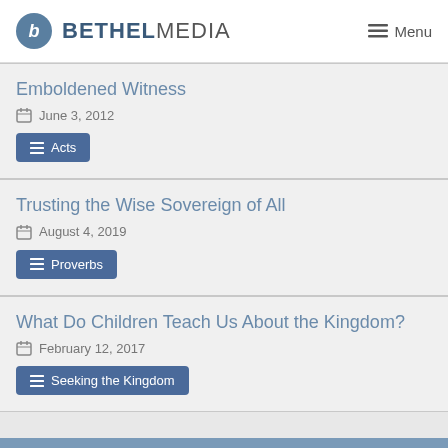BETHEL MEDIA  ☰ Menu
Emboldened Witness
June 3, 2012
Acts
Trusting the Wise Sovereign of All
August 4, 2019
Proverbs
What Do Children Teach Us About the Kingdom?
February 12, 2017
Seeking the Kingdom